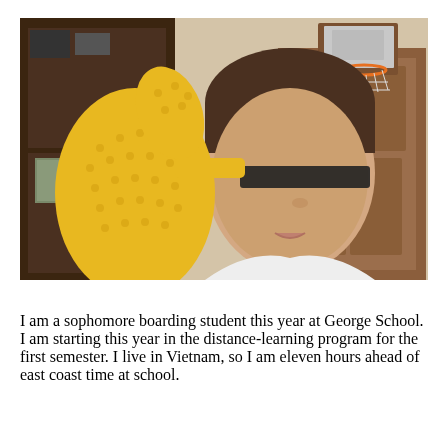[Figure (photo): A young student wearing glasses and a yellow oven mitt raised near their face, wearing a white shirt. In the background is a wooden bookcase on the left and a wooden door with a small basketball hoop mounted on the right.]
I am a sophomore boarding student this year at George School. I am starting this year in the distance-learning program for the first semester. I live in Vietnam, so I am eleven hours ahead of east coast time at school.